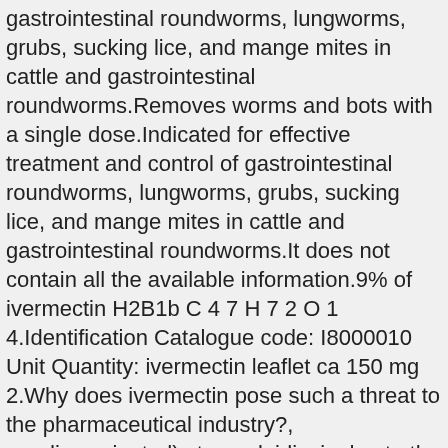gastrointestinal roundworms, lungworms, grubs, sucking lice, and mange mites in cattle and gastrointestinal roundworms.Removes worms and bots with a single dose.Indicated for effective treatment and control of gastrointestinal roundworms, lungworms, grubs, sucking lice, and mange mites in cattle and gastrointestinal roundworms.It does not contain all the available information.9% of ivermectin H2B1b C 4 7 H 7 2 O 1 4.Identification Catalogue code: I8000010 Unit Quantity: ivermectin leaflet ca 150 mg 2.Why does ivermectin pose such a threat to the pharmaceutical industry?, nondisseminated) strongyloidiasis due to the nematode parasite Strongyloides stercoralis This indication is based on clinical studies of both comparative and open-label designs.Ivermectin Tablet is composed of the following active ingredients.Hypersensitivity to ivermectin.Ivermectin was superior to metronidazole cream at reducing lesion count and improving rosacea severity score with participants having approximately 10% fewer lesions at 16 weeks 2.Digiver-12 Ivermectin 12mg Tablets.Ivermectin is usually taken as a single dose or series of doses, or as directed by your